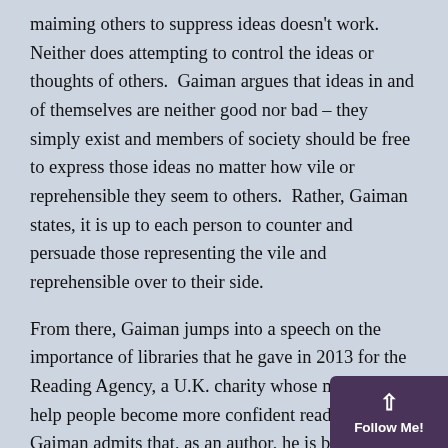maiming others to suppress ideas doesn't work.  Neither does attempting to control the ideas or thoughts of others.  Gaiman argues that ideas in and of themselves are neither good nor bad – they simply exist and members of society should be free to express those ideas no matter how vile or reprehensible they seem to others.  Rather, Gaiman states, it is up to each person to counter and persuade those representing the vile and reprehensible over to their side.
From there, Gaiman jumps into a speech on the importance of libraries that he gave in 2013 for the Reading Agency, a U.K. charity whose mission is to help people become more confident readers. Gaiman admits that, as an author, he is biased towards libraries.  He also gives the reader a small insight into how libraries and librarians shaped his path when he was a child.  During the summer months, his parents dropped him at the library on their way to wor… picked him up on their way home.  There he worke…